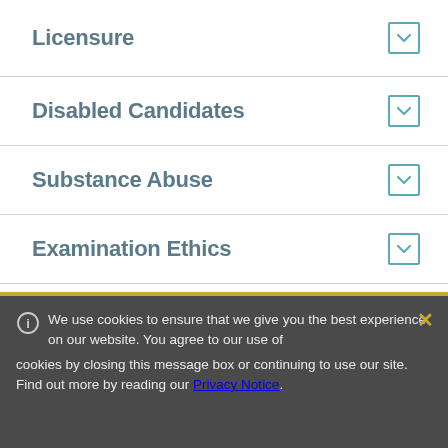Licensure
Disabled Candidates
Substance Abuse
Examination Ethics
Disciplinary Sanctions and Appeals
We use cookies to ensure that we give you the best experience on our website. You agree to our use of cookies by closing this message box or continuing to use our site. Find out more by reading our Privacy Notice.